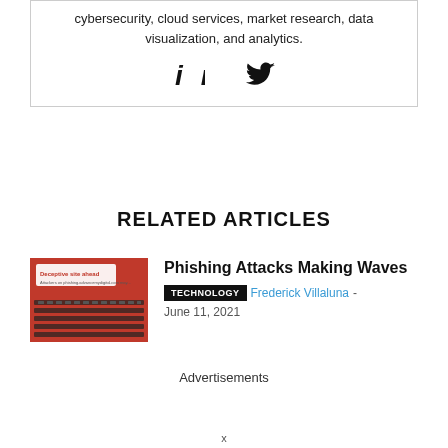cybersecurity, cloud services, market research, data visualization, and analytics.
[Figure (other): LinkedIn and Twitter social media icons]
RELATED ARTICLES
[Figure (photo): Photo showing a browser phishing warning overlay on a dark keyboard, red background with white warning text 'Deceptive site ahead']
Phishing Attacks Making Waves
TECHNOLOGY  Frederick Villaluna - June 11, 2021
Advertisements